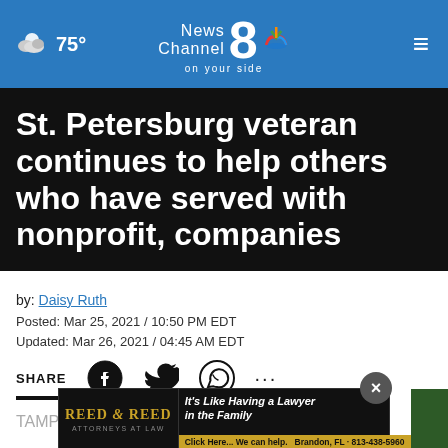75° News Channel 8 on your side
St. Petersburg veteran continues to help others who have served with nonprofit, companies
by: Daisy Ruth
Posted: Mar 25, 2021 / 10:50 PM EDT
Updated: Mar 26, 2021 / 04:45 AM EDT
SHARE
[Figure (screenshot): Advertisement banner: Reed & Reed Attorneys at Law - It's Like Having a Lawyer in the Family. Click Here... We can help. Brandon, FL · 813-438-5960]
TAMP... continu... er